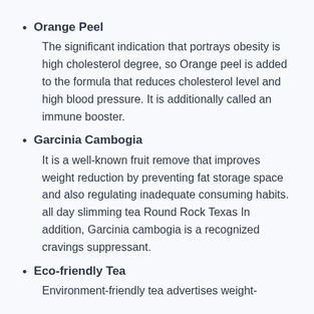Orange Peel
The significant indication that portrays obesity is high cholesterol degree, so Orange peel is added to the formula that reduces cholesterol level and high blood pressure. It is additionally called an immune booster.
Garcinia Cambogia
It is a well-known fruit remove that improves weight reduction by preventing fat storage space and also regulating inadequate consuming habits. all day slimming tea Round Rock Texas In addition, Garcinia cambogia is a recognized cravings suppressant.
Eco-friendly Tea
Environment-friendly tea advertises weight-